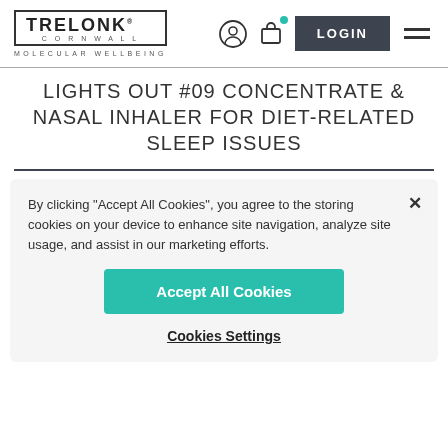TRELONK CORNWALL — MOLECULAR WELLBEING
LIGHTS OUT #09 CONCENTRATE & NASAL INHALER FOR DIET-RELATED SLEEP ISSUES
By clicking "Accept All Cookies", you agree to the storing cookies on your device to enhance site navigation, analyze site usage, and assist in our marketing efforts.
Accept All Cookies
Cookies Settings